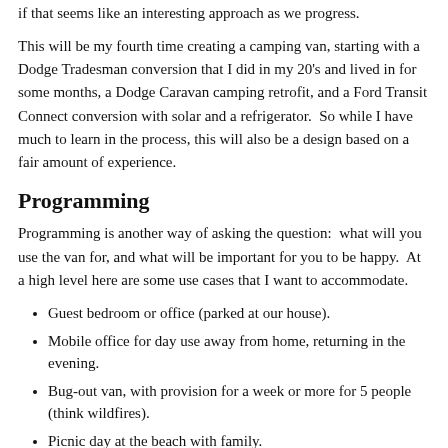if that seems like an interesting approach as we progress.
This will be my fourth time creating a camping van, starting with a Dodge Tradesman conversion that I did in my 20's and lived in for some months, a Dodge Caravan camping retrofit, and a Ford Transit Connect conversion with solar and a refrigerator.  So while I have much to learn in the process, this will also be a design based on a fair amount of experience.
Programming
Programming is another way of asking the question:  what will you use the van for, and what will be important for you to be happy.  At a high level here are some use cases that I want to accommodate.
Guest bedroom or office (parked at our house).
Mobile office for day use away from home, returning in the evening.
Bug-out van, with provision for a week or more for 5 people (think wildfires).
Picnic day at the beach with family.
To be continued...